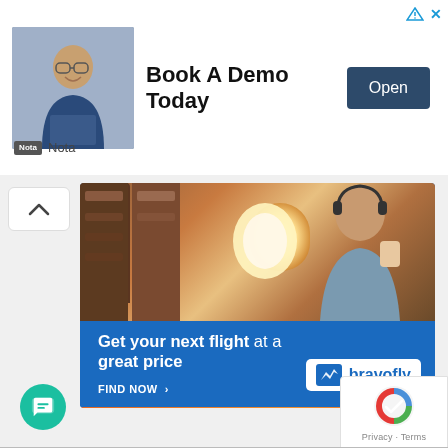[Figure (photo): Top banner ad: man with glasses in suit at laptop, with 'Book A Demo Today' text and 'Open' button, Nota logo]
[Figure (photo): Bravofly travel advertisement showing airplane passenger scene with text 'Get your next flight at a great price' and 'FIND NOW >' call to action with bravofly logo]
[Figure (other): Green chat bubble button at bottom left]
[Figure (other): reCAPTCHA badge at bottom right with Privacy and Terms text]